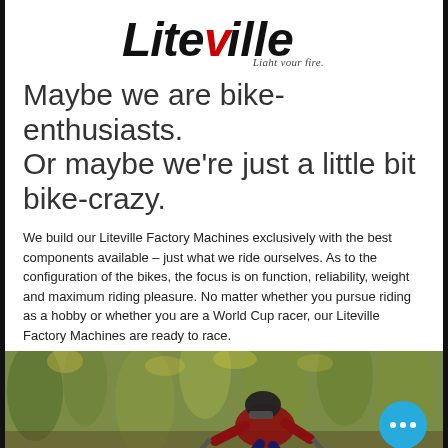[Figure (logo): Liteville logo with 'Light your fire.' tagline. Black bold italic lettering for 'Liteville' with a red accent element, and italic serif tagline below right.]
Maybe we are bike-enthusiasts. Or maybe we're just a little bit bike-crazy.
We build our Liteville Factory Machines exclusively with the best components available – just what we ride ourselves. As to the configuration of the bikes, the focus is on function, reliability, weight and maximum riding pleasure. No matter whether you pursue riding as a hobby or whether you are a World Cup racer, our Liteville Factory Machines are ready to race.
[Figure (photo): A mountain bike racer in a red jersey and helmet riding through a forest with autumn foliage in the background. A teal/cyan circular chat button with three dots is overlaid in the bottom right corner of the photo.]